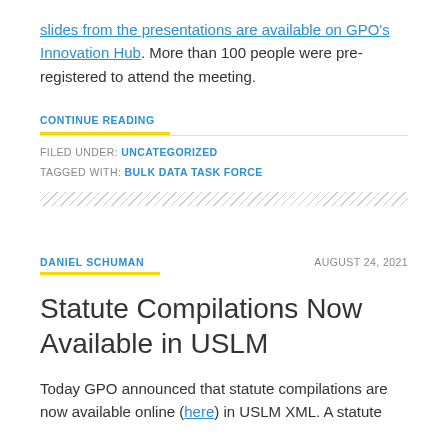slides from the presentations are available on GPO's Innovation Hub. More than 100 people were pre-registered to attend the meeting.
CONTINUE READING
FILED UNDER: UNCATEGORIZED
TAGGED WITH: BULK DATA TASK FORCE
DANIEL SCHUMAN
AUGUST 24, 2021
Statute Compilations Now Available in USLM
Today GPO announced that statute compilations are now available online (here) in USLM XML. A statute...